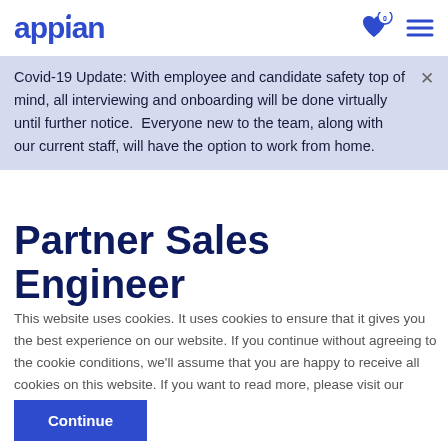appian
Covid-19 Update: With employee and candidate safety top of mind, all interviewing and onboarding will be done virtually until further notice.  Everyone new to the team, along with our current staff, will have the option to work from home.
Partner Sales Engineer
This website uses cookies. It uses cookies to ensure that it gives you the best experience on our website. If you continue without agreeing to the cookie conditions, we'll assume that you are happy to receive all cookies on this website. If you want to read more, please visit our Cookie Policy
Continue